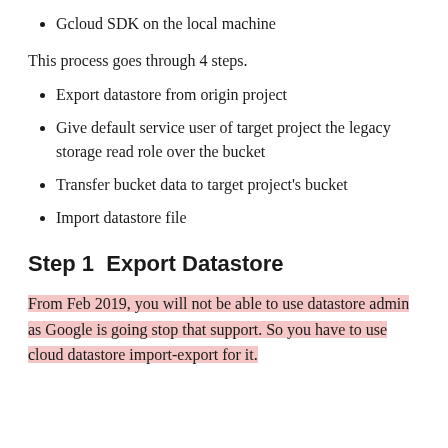Gcloud SDK on the local machine
This process goes through 4 steps.
Export datastore from origin project
Give default service user of target project the legacy storage read role over the bucket
Transfer bucket data to target project's bucket
Import datastore file
Step 1  Export Datastore
From Feb 2019, you will not be able to use datastore admin as Google is going stop that support. So you have to use cloud datastore import-export for it.